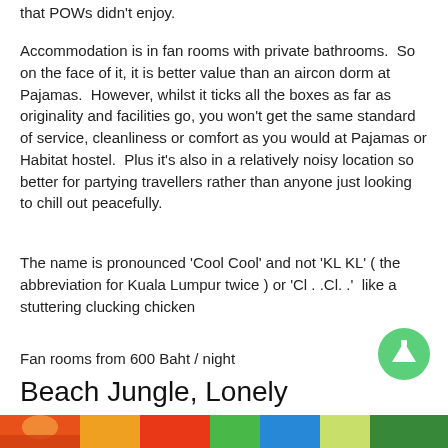that POWs didn't enjoy.
Accommodation is in fan rooms with private bathrooms.  So on the face of it, it is better value than an aircon dorm at Pajamas.  However, whilst it ticks all the boxes as far as originality and facilities go, you won't get the same standard of service, cleanliness or comfort as you would at Pajamas or Habitat hostel.  Plus it's also in a relatively noisy location so better for partying travellers rather than anyone just looking to chill out peacefully.
The name is pronounced 'Cool Cool' and not 'KL KL' ( the abbreviation for Kuala Lumpur twice ) or 'Cl . .Cl. .'  like a stuttering clucking chicken
Fan rooms from 600 Baht / night
Beach Jungle, Lonely beach
[Figure (photo): Colorful graffiti wall photo at the bottom of the page]